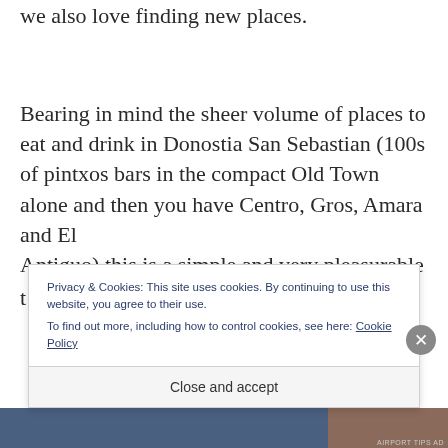we also love finding new places.
Bearing in mind the sheer volume of places to eat and drink in Donostia San Sebastian (100s of pintxos bars in the compact Old Town alone and then you have Centro, Gros, Amara and El Antiguo) this is a simple and very pleasurable t…
Privacy & Cookies: This site uses cookies. By continuing to use this website, you agree to their use.
To find out more, including how to control cookies, see here: Cookie Policy
Close and accept